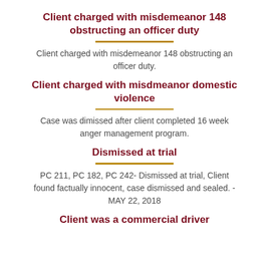Client charged with misdemeanor 148 obstructing an officer duty
Client charged with misdemeanor 148 obstructing an officer duty.
Client charged with misdmeanor domestic violence
Case was dimissed after client completed 16 week anger management program.
Dismissed at trial
PC 211, PC 182, PC 242- Dismissed at trial, Client found factually innocent, case dismissed and sealed. - MAY 22, 2018
Client was a commercial driver